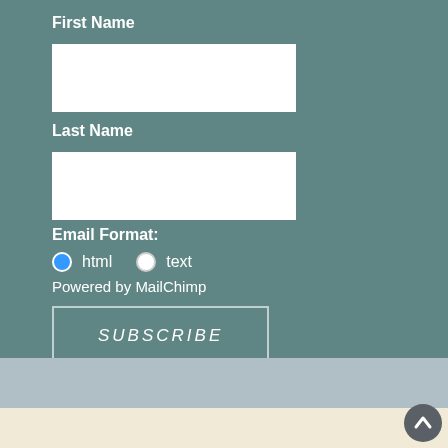First Name
[Figure (other): White rectangular input field for First Name]
Last Name
[Figure (other): White rectangular input field for Last Name]
Email Format:
html  text (radio buttons, html selected)
Powered by MailChimp
SUBSCRIBE
[Figure (other): Back to top circular arrow button]